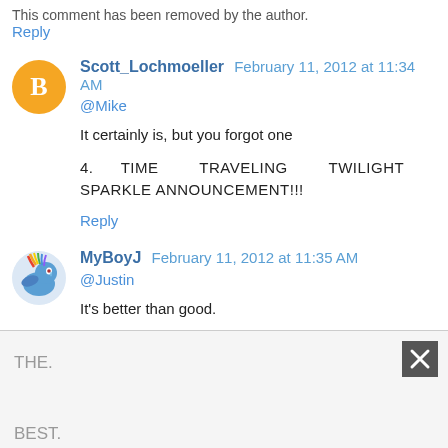This comment has been removed by the author.
Reply
Scott_Lochmoeller February 11, 2012 at 11:34 AM
@Mike
It certainly is, but you forgot one
4.   TIME   TRAVELING   TWILIGHT   SPARKLE ANNOUNCEMENT!!!
Reply
MyBoyJ February 11, 2012 at 11:35 AM
@Justin
It's better than good.
This is
THE.
BEST.